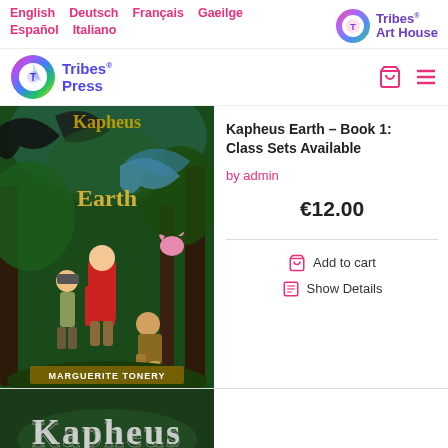English  Deutsch  Français  Gaeilge  Español  Italiano
[Figure (logo): Tribes Art House circular rainbow logo with text]
[Figure (logo): Tribes Press circular rainbow logo with text]
[Figure (photo): Book cover of Kapheus Earth by Marguerite Tonery showing fantasy adventure scene with children and dragon in forest]
Kapheus Earth – Book 1: Class Sets Available
by admin
€12.00
Add to cart
Show Details
[Figure (photo): Partial view of second Kapheus book cover showing stylized title text]